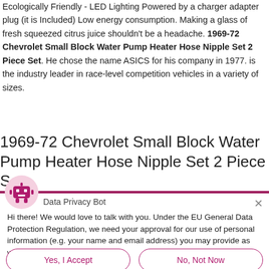Ecologically Friendly - LED Lighting Powered by a charger adapter plug (it is Included) Low energy consumption. Making a glass of fresh squeezed citrus juice shouldn't be a headache. 1969-72 Chevrolet Small Block Water Pump Heater Hose Nipple Set 2 Piece Set. He chose the name ASICS for his company in 1977. is the industry leader in race-level competition vehicles in a variety of sizes.
1969-72 Chevrolet Small Block Water Pump Heater Hose Nipple Set 2 Piece Set
Data Privacy Bot
Hi there! We would love to talk with you. Under the EU General Data Protection Regulation, we need your approval for our use of personal information (e.g. your name and email address) you may provide as we communicate:
Yes, I Accept    No, Not Now